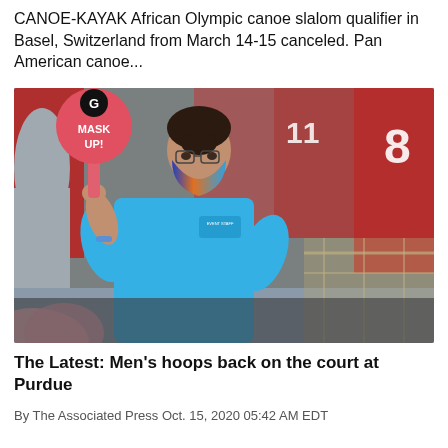CANOE-KAYAK African Olympic canoe slalom qualifier in Basel, Switzerland from March 14-15 canceled. Pan American canoe...
[Figure (photo): Event staff member wearing a blue polo shirt and colorful face mask, holding a pink circular 'MASK UP!' sign with a Georgia Bulldogs G logo, standing in front of a crowd wearing red shirts at a sporting event.]
The Latest: Men's hoops back on the court at Purdue
By The Associated Press Oct. 15, 2020 05:42 AM EDT